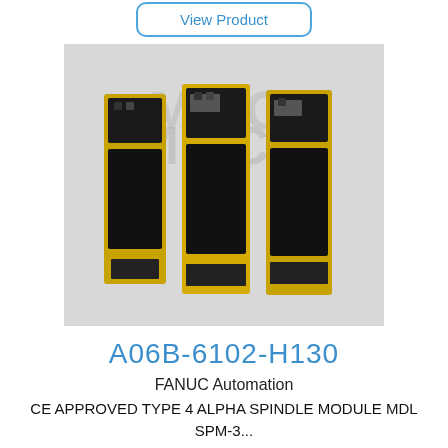[Figure (photo): Partially visible 'View Product' button at the top of the page, blue outlined rounded rectangle button]
[Figure (photo): Three yellow FANUC servo/spindle drive modules (A06B-6102-H130) standing upright against a white background with MKC watermark]
A06B-6102-H130
FANUC Automation
CE APPROVED TYPE 4 ALPHA SPINDLE MODULE MDL SPM-3...
[Figure (screenshot): 'View Product' blue outlined button]
[Figure (photo): Partially visible yellow FANUC unit at bottom of page]